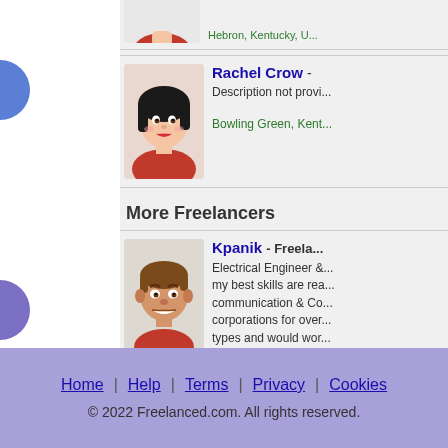[Figure (illustration): Partial avatar of a person in a red shirt, cropped at top]
Hebron, Kentucky, U...
[Figure (illustration): Cartoon avatar of Rachel Crow, woman with black bob haircut and red lips]
Rachel Crow - ...
Description not provi...
Bowling Green, Kent...
More Freelancers
[Figure (illustration): Cartoon avatar of Kpanik, smiling man with brown hair in a red shirt]
Kpanik - Freela...
Electrical Engineer &... my best skills are rea... communication & Co... corporations for over... types and would wor... in!
Titusville, Florida, U...
Home | Help | Terms | Privacy | Cookies
© 2022 Freelanced.com.  All rights reserved.